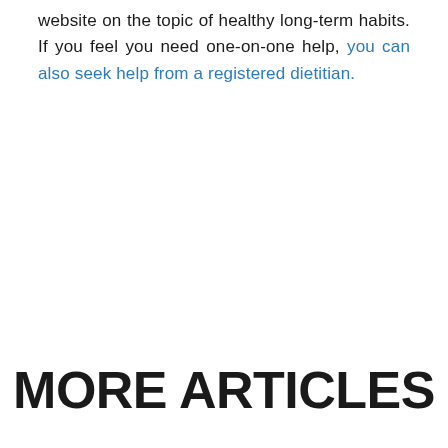website on the topic of healthy long-term habits. If you feel you need one-on-one help, you can also seek help from a registered dietitian.
MORE ARTICLES